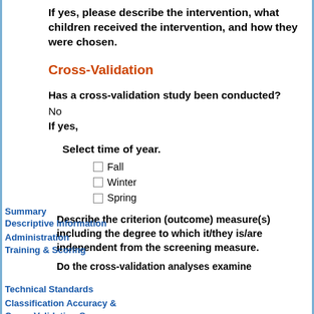If yes, please describe the intervention, what children received the intervention, and how they were chosen.
Cross-Validation
Has a cross-validation study been conducted?
No
If yes,
Select time of year.
Fall
Winter
Spring
Describe the criterion (outcome) measure(s) including the degree to which it/they is/are independent from the screening measure.
Do the cross-validation analyses examine
Summary
Descriptive Information
Administration
Training & Scoring
Technical Standards
Classification Accuracy & Cross-Validation Summary